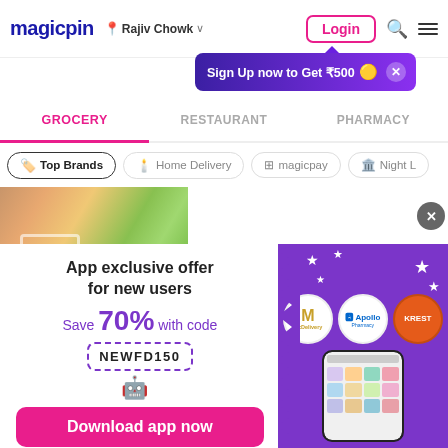[Figure (screenshot): Magicpin app header with logo, location 'Rajiv Chowk', Login button, search and menu icons]
[Figure (infographic): Sign Up now to Get ₹500 promotional banner with close button]
[Figure (screenshot): Navigation tabs: GROCERY (active), RESTAURANT, PHARMACY]
[Figure (screenshot): Filter chips: Top Brands, Home Delivery, magicpay, Night L...]
[Figure (photo): Grocery store image with shopping cart and produce]
[Figure (infographic): App exclusive offer promo banner: Save 70% with code NEWFD150, Download app now button, brand logos McDelivery, Apollo, and phone mockup on purple background]